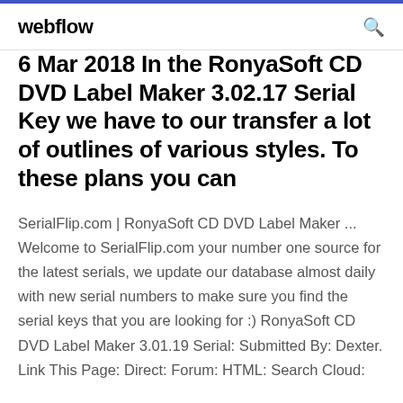webflow
6 Mar 2018 In the RonyaSoft CD DVD Label Maker 3.02.17 Serial Key we have to our transfer a lot of outlines of various styles. To these plans you can
SerialFlip.com | RonyaSoft CD DVD Label Maker ... Welcome to SerialFlip.com your number one source for the latest serials, we update our database almost daily with new serial numbers to make sure you find the serial keys that you are looking for :) RonyaSoft CD DVD Label Maker 3.01.19 Serial: Submitted By: Dexter. Link This Page: Direct: Forum: HTML: Search Cloud: